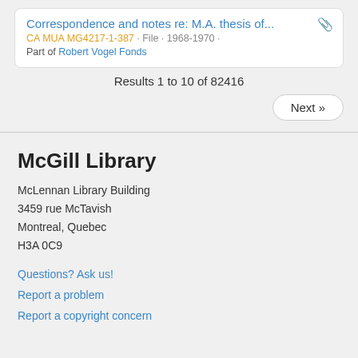Correspondence and notes re: M.A. thesis of...
CA MUA MG4217-1-387 · File · 1968-1970 ·
Part of Robert Vogel Fonds
Results 1 to 10 of 82416
Next »
McGill Library
McLennan Library Building
3459 rue McTavish
Montreal, Quebec
H3A 0C9
Questions? Ask us!
Report a problem
Report a copyright concern